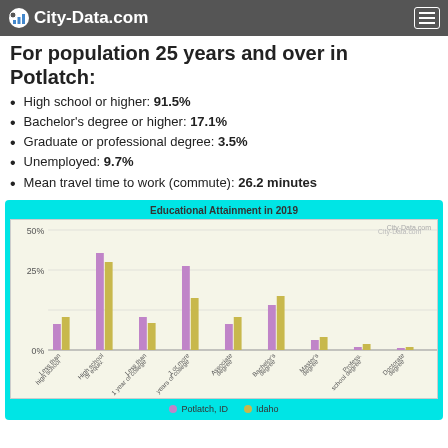City-Data.com
For population 25 years and over in Potlatch:
High school or higher: 91.5%
Bachelor's degree or higher: 17.1%
Graduate or professional degree: 3.5%
Unemployed: 9.7%
Mean travel time to work (commute): 26.2 minutes
[Figure (grouped-bar-chart): Educational Attainment in 2019]